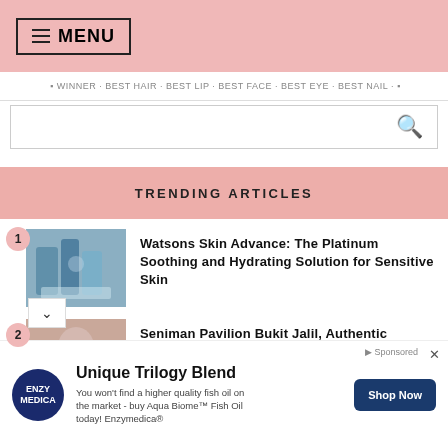≡ MENU
TRENDING ARTICLES
1 Watsons Skin Advance: The Platinum Soothing and Hydrating Solution for Sensitive Skin
2 Seniman Pavilion Bukit Jalil, Authentic Nostalgic
Unique Trilogy Blend
You won't find a higher quality fish oil on the market - buy Aqua Biome™ Fish Oil today! Enzymedica®
Shop Now